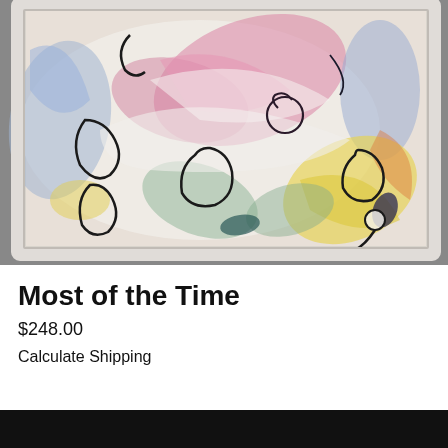[Figure (photo): Abstract colorful painting in a white frame, featuring swirling brushstrokes in pink, blue, yellow, green, and white with black line drawings of organic shapes, displayed against a gray background.]
Most of the Time
$248.00
Calculate Shipping